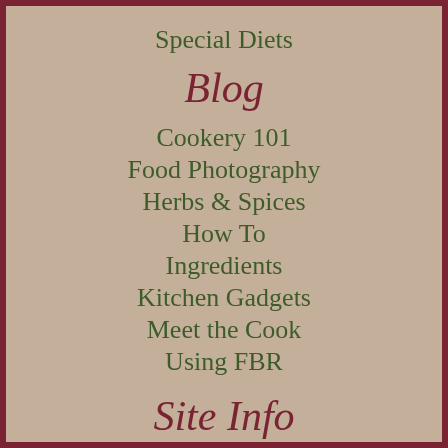Special Diets
Blog
Cookery 101
Food Photography
Herbs & Spices
How To
Ingredients
Kitchen Gadgets
Meet the Cook
Using FBR
Site Info